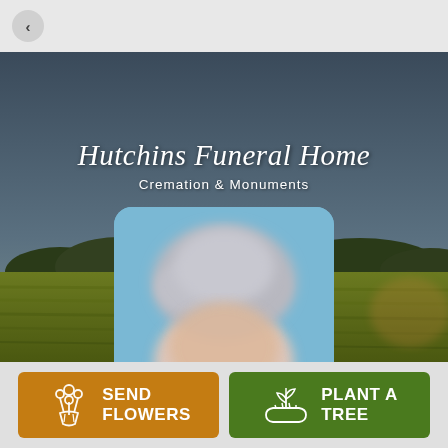[Figure (screenshot): Back navigation button (left arrow) on grey top bar]
[Figure (photo): Hero background image of green rolling fields with dark blue-grey sky, Hutchins Funeral Home logo overlay with cursive name and subtitle 'Cremation & Monuments', and a blurred portrait photo of an elderly person with curly grey hair in a rounded rectangle frame]
[Figure (other): Send Flowers button with orange background, white bouquet icon, and bold white text 'SEND FLOWERS']
[Figure (other): Plant A Tree button with green background, white seedling-in-hand icon, and bold white text 'PLANT A TREE']